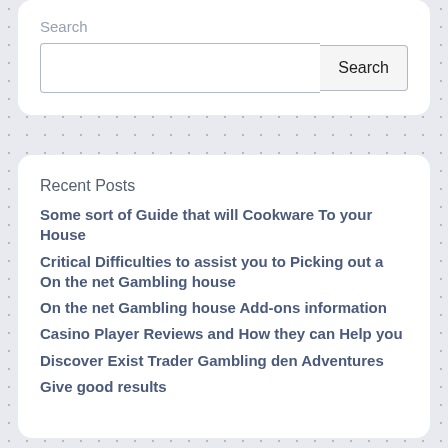[Figure (screenshot): Search widget card with a text input field and a Search button]
Recent Posts
Some sort of Guide that will Cookware To your House
Critical Difficulties to assist you to Picking out a On the net Gambling house
On the net Gambling house Add-ons information
Casino Player Reviews and How they can Help you
Discover Exist Trader Gambling den Adventures
Give good results